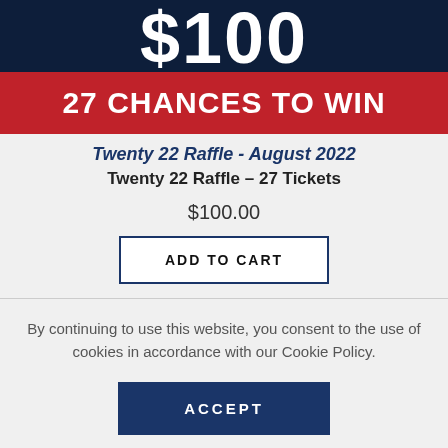[Figure (other): Dark navy banner with large white '$100' text partially cropped at top]
[Figure (other): Red banner with bold white text '27 CHANCES TO WIN']
Twenty 22 Raffle - August 2022
Twenty 22 Raffle – 27 Tickets
$100.00
ADD TO CART
By continuing to use this website, you consent to the use of cookies in accordance with our Cookie Policy.
ACCEPT